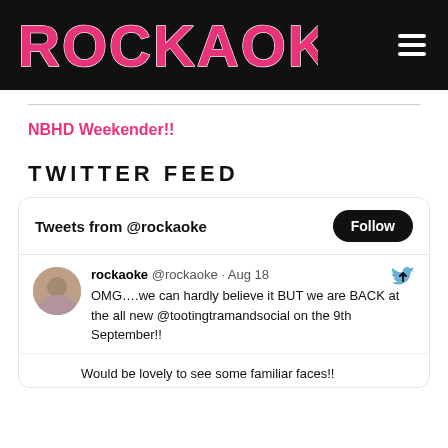ROCKAOKE
NBHD Weekender!!
TWITTER FEED
Tweets from @rockaoke
rockaoke @rockaoke · Aug 18
OMG….we can hardly believe it BUT we are BACK at the all new @tootingtramandsocial on the 9th September!!

Would be lovely to see some familiar faces!!